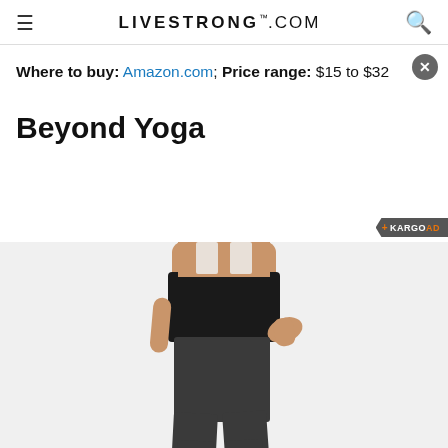LIVESTRONG.COM
Where to buy: Amazon.com; Price range: $15 to $32
Beyond Yoga
[Figure (photo): Woman wearing black high-waisted yoga leggings with a wide waistband and dark heather grey fitted pants, posing with hand on hip against a light grey background.]